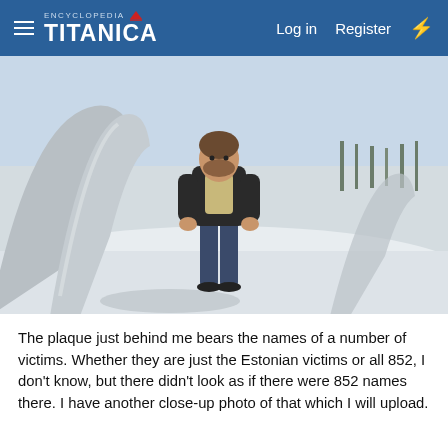ENCYCLOPEDIA TITANICA — Log in | Register
[Figure (photo): A man standing in front of a large curved stone or concrete memorial structure in a snowy outdoor setting. The plaque is behind him. Trees and a park-like landscape are visible in the background.]
The plaque just behind me bears the names of a number of victims. Whether they are just the Estonian victims or all 852, I don't know, but there didn't look as if there were 852 names there. I have another close-up photo of that which I will upload.